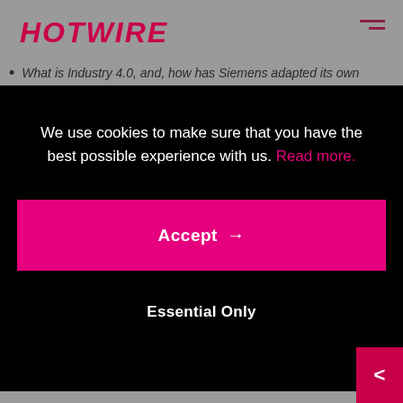HOTWIRE
What is Industry 4.0, and, how has Siemens adapted its own business for digitalization.
We use cookies to make sure that you have the best possible experience with us. Read more.
Accept →
Essential Only